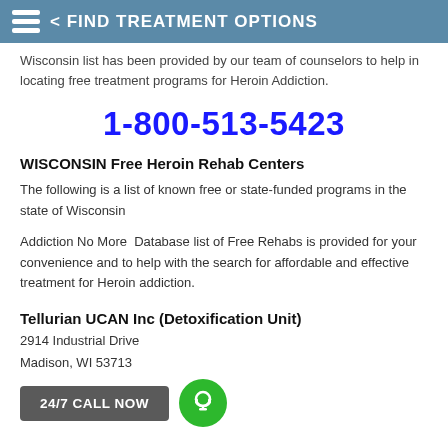< FIND TREATMENT OPTIONS
Wisconsin list has been provided by our team of counselors to help in locating free treatment programs for Heroin Addiction.
1-800-513-5423
WISCONSIN Free Heroin Rehab Centers
The following is a list of known free or state-funded programs in the state of Wisconsin
Addiction No More  Database list of Free Rehabs is provided for your convenience and to help with the search for affordable and effective treatment for Heroin addiction.
Tellurian UCAN Inc (Detoxification Unit)
2914 Industrial Drive
Madison, WI 53713